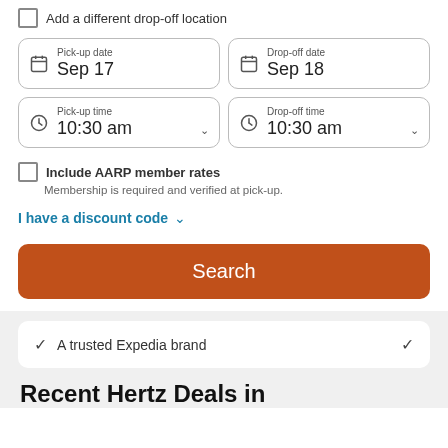Add a different drop-off location
Pick-up date: Sep 17
Drop-off date: Sep 18
Pick-up time: 10:30 am
Drop-off time: 10:30 am
Include AARP member rates
Membership is required and verified at pick-up.
I have a discount code
Search
A trusted Expedia brand
Recent Hertz Deals in